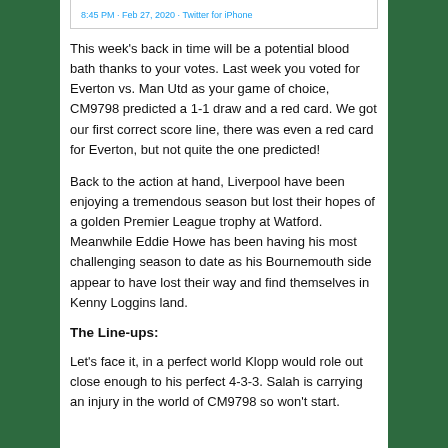8:45 PM · Feb 27, 2020 · Twitter for iPhone
This week's back in time will be a potential blood bath thanks to your votes. Last week you voted for Everton vs. Man Utd as your game of choice, CM9798 predicted a 1-1 draw and a red card. We got our first correct score line, there was even a red card for Everton, but not quite the one predicted!
Back to the action at hand, Liverpool have been enjoying a tremendous season but lost their hopes of a golden Premier League trophy at Watford. Meanwhile Eddie Howe has been having his most challenging season to date as his Bournemouth side appear to have lost their way and find themselves in Kenny Loggins land.
The Line-ups:
Let's face it, in a perfect world Klopp would role out close enough to his perfect 4-3-3. Salah is carrying an injury in the world of CM9798 so won't start.